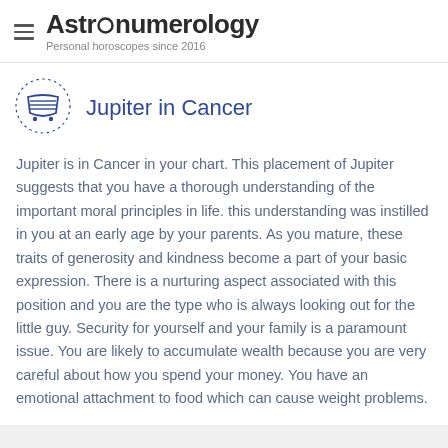Astronumerology — Personal horoscopes since 2016
Jupiter in Cancer
Jupiter is in Cancer in your chart. This placement of Jupiter suggests that you have a thorough understanding of the important moral principles in life. this understanding was instilled in you at an early age by your parents. As you mature, these traits of generosity and kindness become a part of your basic expression. There is a nurturing aspect associated with this position and you are the type who is always looking out for the little guy. Security for yourself and your family is a paramount issue. You are likely to accumulate wealth because you are very careful about how you spend your money. You have an emotional attachment to food which can cause weight problems.